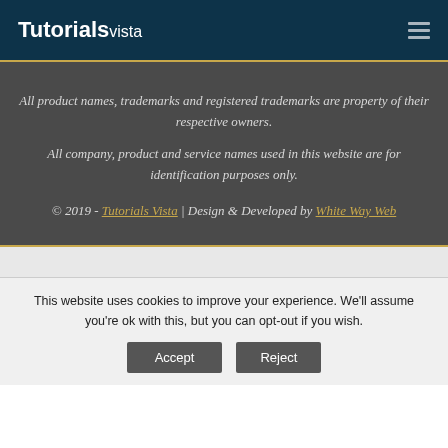Tutorialsvista
All product names, trademarks and registered trademarks are property of their respective owners.
All company, product and service names used in this website are for identification purposes only.
© 2019 - Tutorials Vista | Design & Developed by White Way Web
This website uses cookies to improve your experience. We'll assume you're ok with this, but you can opt-out if you wish.